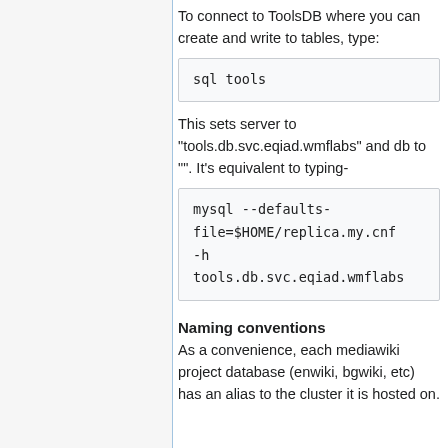To connect to ToolsDB where you can create and write to tables, type:
sql tools
This sets server to "tools.db.svc.eqiad.wmflabs" and db to "". It's equivalent to typing-
mysql --defaults-file=$HOME/replica.my.cnf -h tools.db.svc.eqiad.wmflabs
Naming conventions
As a convenience, each mediawiki project database (enwiki, bgwiki, etc) has an alias to the cluster it is hosted on.